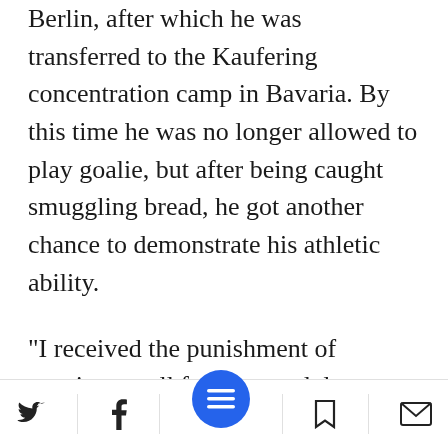Berlin, after which he was transferred to the Kaufering concentration camp in Bavaria. By this time he was no longer allowed to play goalie, but after being caught smuggling bread, he got another chance to demonstrate his athletic ability.
"I received the punishment of running on all fours up and down a hill - back and forth on my hands and knees," he says. "I was in such good shape, I did it well. My fingers were bleeding, but I didn't give in. Everyone was impressed by the way I carried out the punishment. Even th      is watching me got
Social share bar with Twitter, Facebook, menu, bookmark, and mail icons